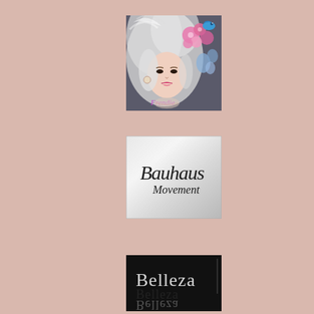[Figure (illustration): Fantasy illustration of a woman with white flowing hair adorned with pink and blue flowers and a blue bird, with script text overlay reading 'Frendie']
[Figure (logo): Silver/metallic background with elegant cursive script logo reading 'Bauhaus Movement']
[Figure (logo): Black background with silver/white serif text reading 'Belleza' with a reflection effect below]